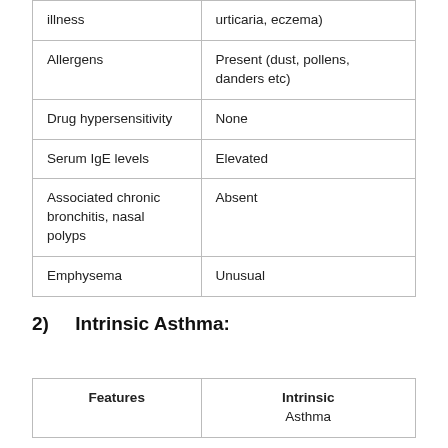| illness | urticaria, eczema) |
| Allergens | Present (dust, pollens, danders etc) |
| Drug hypersensitivity | None |
| Serum IgE levels | Elevated |
| Associated chronic bronchitis, nasal polyps | Absent |
| Emphysema | Unusual |
2)    Intrinsic Asthma:
| Features | Intrinsic Asthma |
| --- | --- |